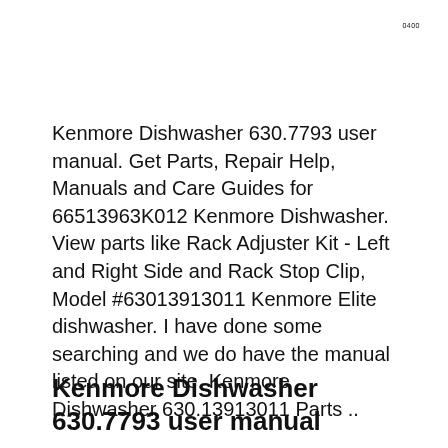0400
Kenmore Dishwasher 630.7793 user manual. Get Parts, Repair Help, Manuals and Care Guides for 66513963K012 Kenmore Dishwasher. View parts like Rack Adjuster Kit - Left and Right Side and Rack Stop Clip, Model #63013913011 Kenmore Elite dishwasher. I have done some searching and we do have the manual listed on our site. Kenmore Dishwasher 630.13913011 Parts ..
Kenmore Dishwasher 630.7793 user manual